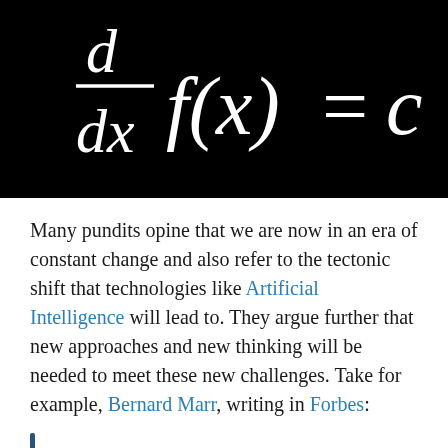[Figure (math-figure): Mathematical formula on black background: d/dx f(x) = c, with 'd' in numerator, 'dx' in denominator forming a fraction, followed by f(x) = c in italic serif font]
Many pundits opine that we are now in an era of constant change and also refer to the tectonic shift that technologies like Artificial Intelligence will lead to. They argue further that new approaches and new thinking will be needed to meet these new challenges. Take for example, Bernard Marr, writing in Forbes:
Since we're in the midst of the transformative impact of the Fourth